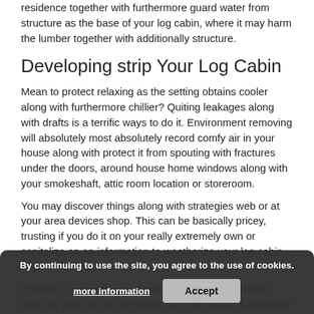residence together with furthermore guard water from structure as the base of your log cabin, where it may harm the lumber together with additionally structure.
Developing strip Your Log Cabin
Mean to protect relaxing as the setting obtains cooler along with furthermore chillier? Quiting leakages along with drafts is a terrific ways to do it. Environment removing will absolutely most absolutely record comfy air in your house along with protect it from spouting with fractures under the doors, around house home windows along with your smokeshaft, attic room location or storeroom.
You may discover things along with strategies web or at your area devices shop. This can be basically pricey, trusting if you do it on your really extremely own or capitalize on an information to weatherize your log cabin for
Entirely, it is licensed to placing in a pro, guaranteeing your log cabin is well protected with the years. Specifically with
By continuing to use the site, you agree to the use of cookies.
more information
Accept